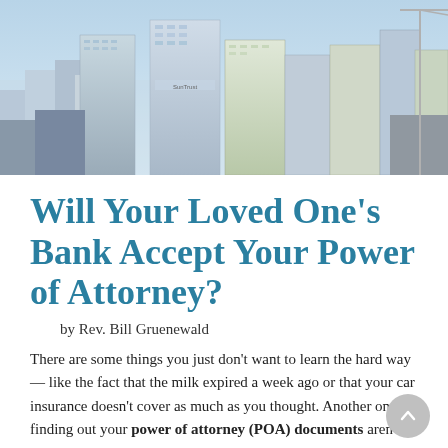[Figure (photo): Aerial photograph of a city skyline with tall modern glass office skyscrapers under a blue sky.]
Will Your Loved One's Bank Accept Your Power of Attorney?
by Rev. Bill Gruenewald
There are some things you just don't want to learn the hard way — like the fact that the milk expired a week ago or that your car insurance doesn't cover as much as you thought. Another one is finding out your power of attorney (POA) documents aren't